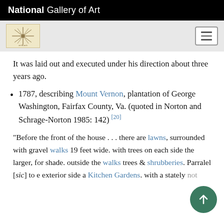National Gallery of Art
It was laid out and executed under his direction about three years ago.
1787, describing Mount Vernon, plantation of George Washington, Fairfax County, Va. (quoted in Norton and Schrage-Norton 1985: 142) [20]
“Before the front of the house . . . there are lawns, surrounded with gravel walks 19 feet wide. with trees on each side the larger, for shade. outside the walks trees & shrubberies. Parralel [sic] to e exterior side a Kitchen Gardens. with a stately not